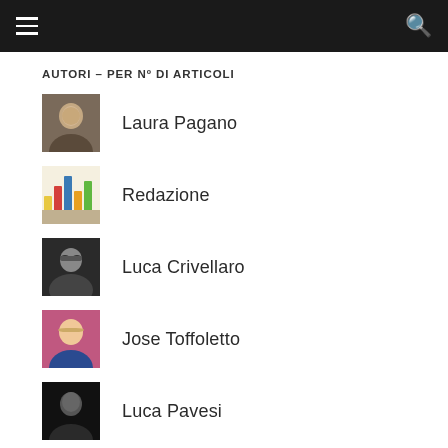AUTORI – PER Nº DI ARTICOLI
Laura Pagano
Redazione
Luca Crivellaro
Jose Toffoletto
Luca Pavesi
Elisa Bottignolo
Manuela Interlandi